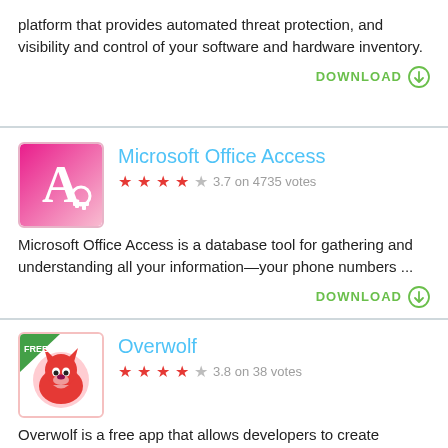platform that provides automated threat protection, and visibility and control of your software and hardware inventory.
DOWNLOAD
[Figure (illustration): Microsoft Office Access app icon - pink/magenta gradient background with white letter A and a key symbol]
Microsoft Office Access
3.7 on 4735 votes
Microsoft Office Access is a database tool for gathering and understanding all your information—your phone numbers ...
DOWNLOAD
[Figure (illustration): Overwolf app icon - white background with red wolf/fox head character and green FREE badge in corner]
Overwolf
3.8 on 38 votes
Overwolf is a free app that allows developers to create extensions for video games.